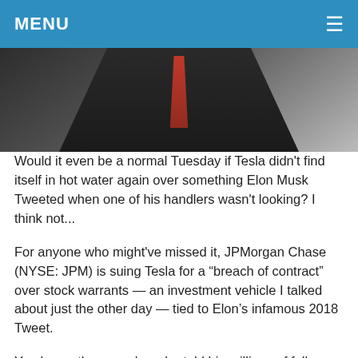MENU
[Figure (photo): A man in a dark suit with a red tie, photographed from the chest up against a light background.]
Would it even be a normal Tuesday if Tesla didn't find itself in hot water again over something Elon Musk Tweeted when one of his handlers wasn't looking? I think not...
For anyone who might've missed it, JPMorgan Chase (NYSE: JPM) is suing Tesla for a "breach of contract" over stock warrants — an investment vehicle I talked about just the other day — tied to Elon's infamous 2018 Tweet.
You know, the one where he told his millions of followers he was "considering taking Tesla private at $420?" Yeah, that Tweet.
According to JPMorgan, Tesla breached the terms of a